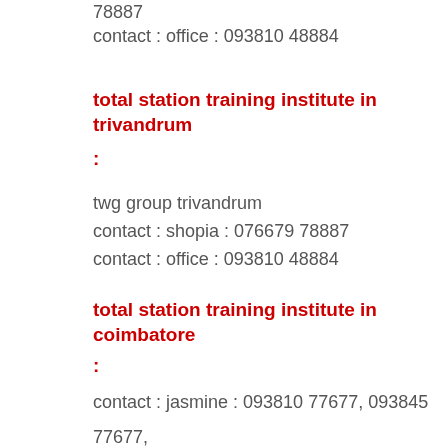78887
contact : office : 093810 48884
total station training institute in trivandrum
:
twg group trivandrum
contact : shopia : 076679 78887
contact : office : 093810 48884
total station training institute in coimbatore
:
contact : jasmine : 093810 77677, 093845
77677,